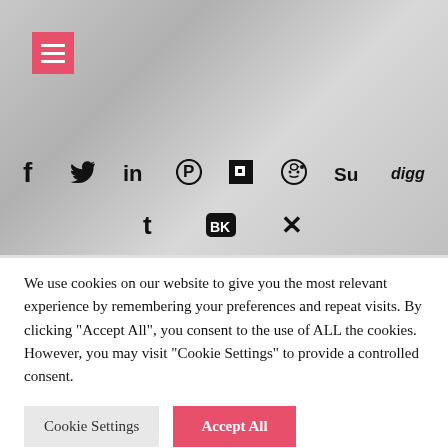[Figure (screenshot): Website screenshot showing a blurred grayscale animal photo background with a red hamburger menu icon in the top-left corner, and two rows of social media sharing icons (Facebook, Twitter, LinkedIn, Pinterest, ShareThis, Reddit, StumbleUpon, Digg, Tumblr, VKontakte, Xing) overlaid on the background.]
We use cookies on our website to give you the most relevant experience by remembering your preferences and repeat visits. By clicking "Accept All", you consent to the use of ALL the cookies. However, you may visit "Cookie Settings" to provide a controlled consent.
Cookie Settings
Accept All